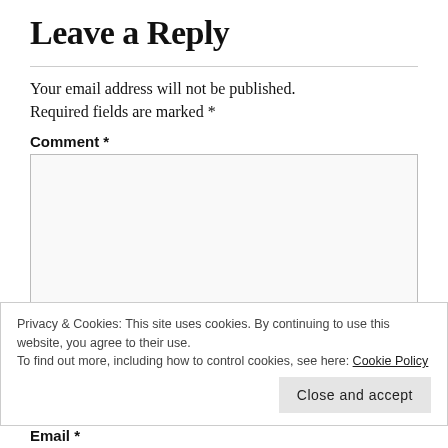Leave a Reply
Your email address will not be published. Required fields are marked *
Comment *
Privacy & Cookies: This site uses cookies. By continuing to use this website, you agree to their use.
To find out more, including how to control cookies, see here: Cookie Policy
Close and accept
Email *